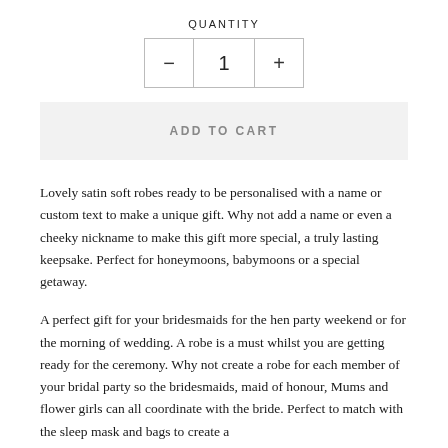QUANTITY
- 1 +
ADD TO CART
Lovely satin soft robes ready to be personalised with a name or custom text to make a unique gift. Why not add a name or even a cheeky nickname to make this gift more special, a truly lasting keepsake. Perfect for honeymoons, babymoons or a special getaway.
A perfect gift for your bridesmaids for the hen party weekend or for the morning of wedding. A robe is a must whilst you are getting ready for the ceremony. Why not create a robe for each member of your bridal party so the bridesmaids, maid of honour, Mums and flower girls can all coordinate with the bride. Perfect to match with the sleep mask and bags to create a